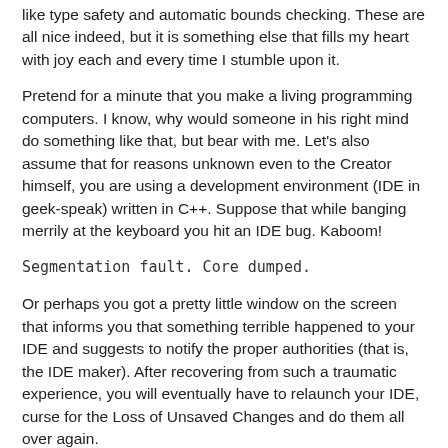like type safety and automatic bounds checking. These are all nice indeed, but it is something else that fills my heart with joy each and every time I stumble upon it.
Pretend for a minute that you make a living programming computers. I know, why would someone in his right mind do something like that, but bear with me. Let's also assume that for reasons unknown even to the Creator himself, you are using a development environment (IDE in geek-speak) written in C++. Suppose that while banging merrily at the keyboard you hit an IDE bug. Kaboom!
Segmentation fault. Core dumped.
Or perhaps you got a pretty little window on the screen that informs you that something terrible happened to your IDE and suggests to notify the proper authorities (that is, the IDE maker). After recovering from such a traumatic experience, you will eventually have to relaunch your IDE, curse for the Loss of Unsaved Changes and do them all over again.
Now let's assume you were using an IDE written in Java.